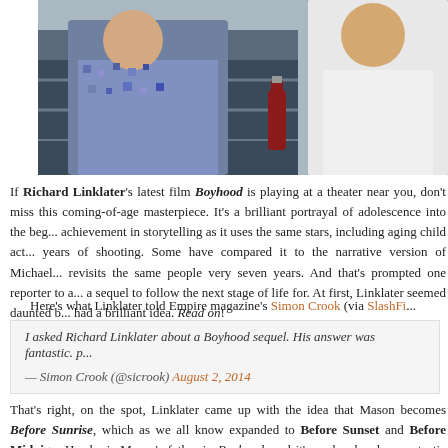[Figure (photo): Movie still showing two people, one in a patterned shirt and one in white, with a bottle visible]
If Richard Linklater's latest film Boyhood is playing at a theater near you, don't miss this coming-of-age masterpiece. It's a brilliant portrayal of adolescence into the beginning of adulthood, an achievement in storytelling as it uses the same stars, including aging child actors, over twelve years of shooting. Some have compared it to the narrative version of Michael Apted's Up series that revisits the same people very seven years. And that's prompted one reporter to ask Linklater about a sequel to follow the next stage of life for. At first, Linklater seemed daunted by the question but then had a brilliant idea. Read on!
Here's what Linklater told Empire magazine's Simon Crook (via SlashFi...
I asked Richard Linklater about a Boyhood sequel. His answer was fantastic. p... — Simon Crook (@sicrook) August 2, 2014
That's right, on the spot, Linklater came up with the idea that Mason becomes Before Sunrise, which as we all know expanded to Before Sunset and Before Midnight. Ethan Hawke is Mason's father in Boyhood, and it's such a lovely way to tie Linklater's worlds together. Obviously, Before Sunrise could only be the thematic sequel to Boyhood, but what an idea to come up with on the spot like that. Frankly, we're glad that Linklater doesn't plan to actually do it, because we'd have to wait 12 more years. Cool?